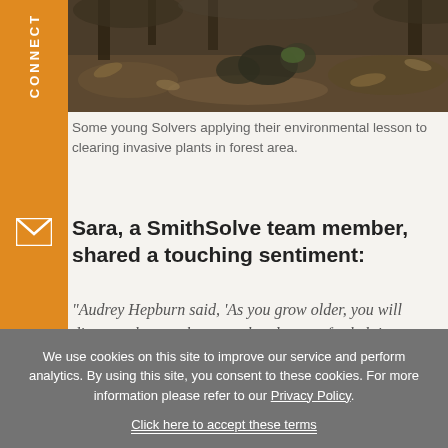[Figure (photo): Photo of forest area with leaves and rocks on ground, students clearing invasive plants]
Some young Solvers applying their environmental lesson to clearing invasive plants in forest area.
Sara, a SmithSolve team member, shared a touching sentiment:
“Audrey Hepburn said, ‘As you grow older, you will discover that you have two hands—one for helping yourself, and the other for helping others.’ As working professionals, we’re often keen to focus on honing the skills of the hand that helps ourselves—improving our public
We use cookies on this site to improve our service and perform analytics. By using this site, you consent to these cookies. For more information please refer to our Privacy Policy.

Click here to accept these terms